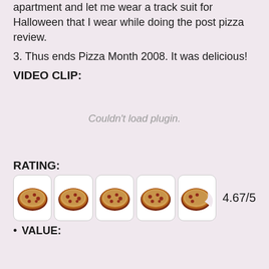apartment and let me wear a track suit for Halloween that I wear while doing the post pizza review.
3. Thus ends Pizza Month 2008. It was delicious!
VIDEO CLIP:
Couldn't load plugin.
RATING:
[Figure (other): Five pizza icons in boxes representing a rating of 4.67 out of 5, with the last pizza showing a bite taken out.]
4.67/5
VALUE: